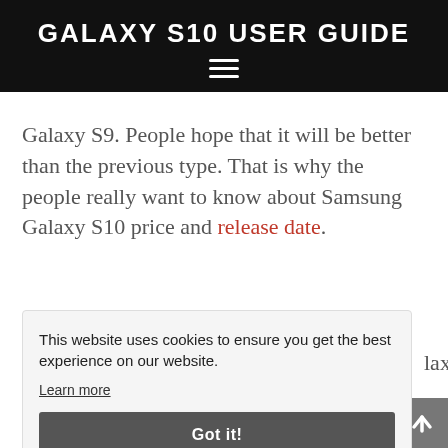GALAXY S10 USER GUIDE
Galaxy S9. People hope that it will be better than the previous type. That is why the people really want to know about Samsung Galaxy S10 price and release date.
The Prediction of Samsung Galaxy S10
This website uses cookies to ensure you get the best experience on our website. Learn more Got it!
appear at very high prices.  Nonetheless, people